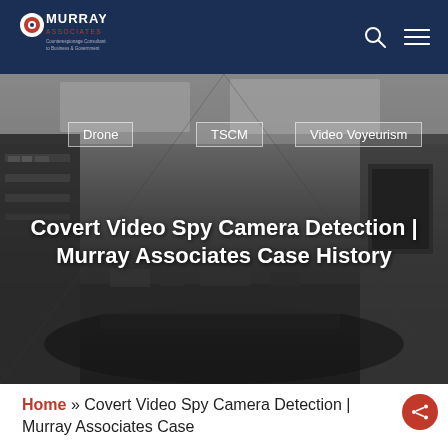Murray Associates — Counterespionage Consultants to Business & Government
[Figure (screenshot): Grayscale photograph of an office interior viewed from a covert camera angle, showing ceiling tiles, furniture, and cluttered room contents]
Drone
TSCM
Video Voyeurism
Covert Video Spy Camera Detection | Murray Associates Case History
Home » Covert Video Spy Camera Detection | Murray Associates Case History